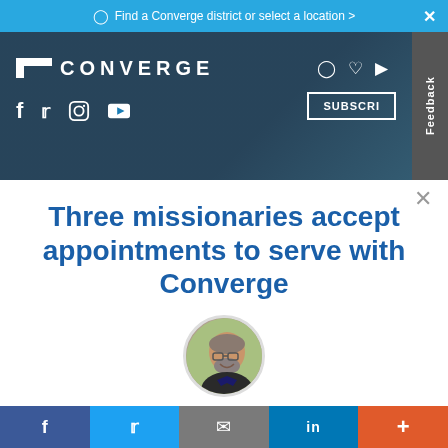Find a Converge district or select a location >
[Figure (screenshot): Converge website header with logo, social media icons (Facebook, Twitter, Instagram, YouTube), navigation icons, Subscribe button, and Feedback tab]
Three missionaries accept appointments to serve with Converge
[Figure (photo): Circular author profile photo of a middle-aged man with glasses and a beard, smiling]
Social share bar with Facebook, Twitter, Email, LinkedIn, and More buttons